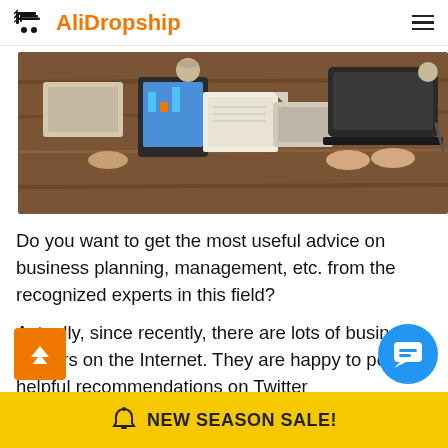AliDropship
[Figure (photo): Overhead view of people working at a wooden desk with laptops, tablets, and papers]
Do you want to get the most useful advice on business planning, management, etc. from the recognized experts in this field?
Actually, since recently, there are lots of business trainers on the Internet. They are happy to post helpful recommendations on Twitter
NEW SEASON SALE!